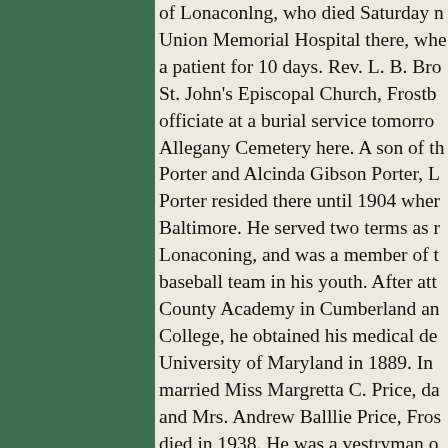of Lonaconlng, who died Saturday n Union Memorial Hospital there, whe a patient for 10 days. Rev. L. B. Bro St. John's Episcopal Church, Frostb officiate at a burial service tomorro Allegany Cemetery here. A son of th Porter and Alcinda Gibson Porter, L Porter resided there until 1904 wher Baltimore. He served two terms as r Lonaconing, and was a member of t baseball team in his youth. After att County Academy in Cumberland an College, he obtained his medical de University of Maryland in 1889. In married Miss Margretta C. Price, da and Mrs. Andrew Balllie Price, Fros died in 1938. He was a vestryman o Episcopal Church, Roland Park. Dr. estimated recently, that he had deliv 3,000 babies. He retired from active 1945 and recently broke his hip in a